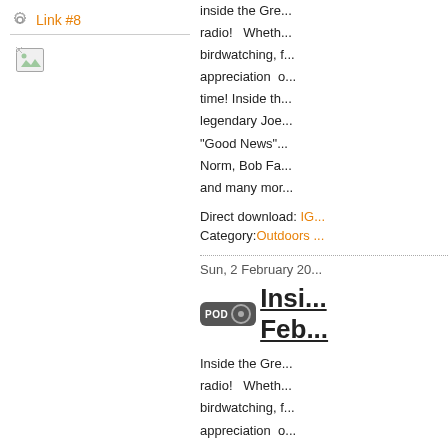Link #8
[Figure (illustration): Broken image icon (small file/image placeholder)]
Inside the Gre... radio! Wheth... birdwatching, f... appreciation o... time! Inside th... legendary Joe... "Good News"... Norm, Bob Fa... and many mor...
Direct download: IG...
Category: Outdoors...
Sun, 2 February 20...
Insi... Feb...
Inside the Gre... radio! Wheth... birdwatching, f... appreciation o... time! Inside th...